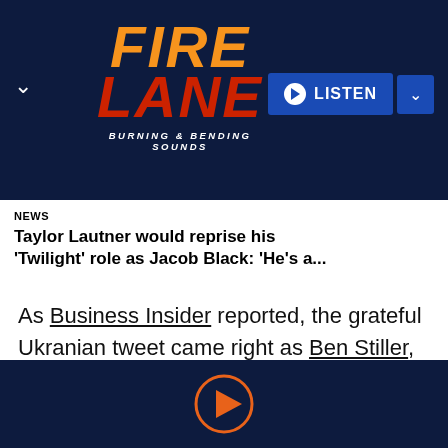[Figure (logo): Fire Lane radio logo with orange FIRE and red LANE text, subtitle BURNING & BENDING SOUNDS, on dark navy background with LISTEN button]
NEWS
Taylor Lautner would reprise his 'Twilight' role as Jacob Black: 'He's a...
As Business Insider reported, the grateful Ukranian tweet came right as Ben Stiller, who is an ambassador for the United Nations High Commissioner for Refugees, had visited Ukraine to mark World Refugee Day.
[Figure (other): Orange play button circle icon on dark navy background at bottom of page]